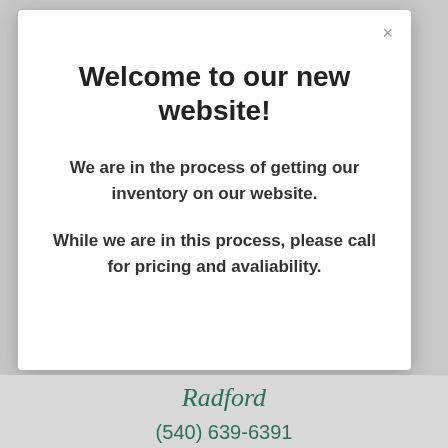Welcome to our new website!
We are in the process of getting our inventory on our website.
While we are in this process, please call for pricing and avaliability.
Radford
(540) 639-6391
1037 E Main St.
Radford, VA 24141